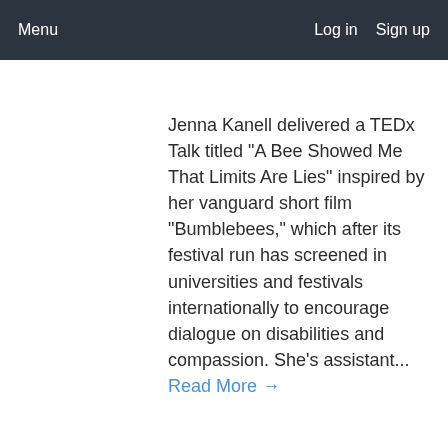Menu   Log in   Sign up
Jenna Kanell delivered a TEDx Talk titled "A Bee Showed Me That Limits Are Lies" inspired by her vanguard short film "Bumblebees," which after its festival run has screened in universities and festivals internationally to encourage dialogue on disabilities and compassion. She's assistant... Read More →
[Figure (illustration): Circular avatar placeholder with initials NI in gray text on light gray background]
Neil Ira Needleman